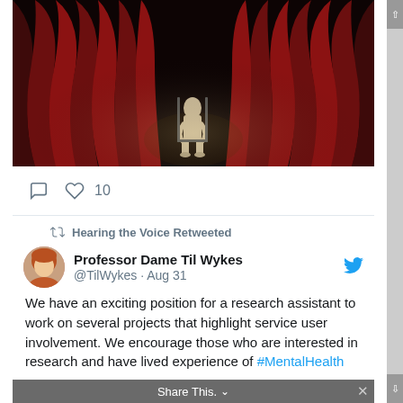[Figure (photo): A dark theatrical stage scene with deep red velvet curtains parted in the center. A single person dressed in light clothing is seated on a chair in the spotlight at center stage, against a very dark background.]
♡ 10
Hearing the Voice Retweeted
Professor Dame Til Wykes @TilWykes · Aug 31
We have an exciting position for a research assistant to work on several projects that highlight service user involvement. We encourage those who are interested in research and have lived experience of #MentalHealth
Share This.